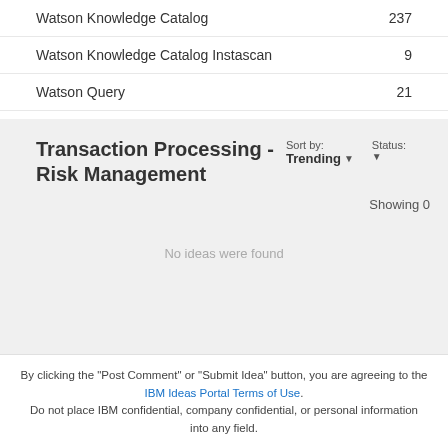Watson Knowledge Catalog 237
Watson Knowledge Catalog Instascan 9
Watson Query 21
Transaction Processing - Risk Management
Sort by: Trending
Status:
Showing 0
No ideas were found
By clicking the "Post Comment" or "Submit Idea" button, you are agreeing to the IBM Ideas Portal Terms of Use. Do not place IBM confidential, company confidential, or personal information into any field.